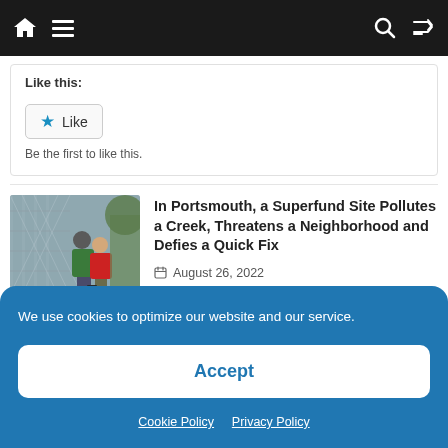Navigation bar with home, menu, search, and shuffle icons
Like this:
Be the first to like this.
[Figure (photo): Two people standing near a chain-link fence outdoors]
In Portsmouth, a Superfund Site Pollutes a Creek, Threatens a Neighborhood and Defies a Quick Fix
August 26, 2022
We use cookies to optimize our website and our service.
Accept
Cookie Policy   Privacy Policy